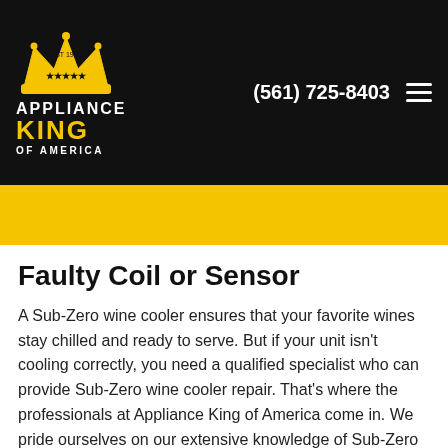APPLIANCE KING OF AMERICA | (561) 725-8403
Faulty Coil or Sensor
A Sub-Zero wine cooler ensures that your favorite wines stay chilled and ready to serve. But if your unit isn't cooling correctly, you need a qualified specialist who can provide Sub-Zero wine cooler repair. That's where the professionals at Appliance King of America come in. We pride ourselves on our extensive knowledge of Sub-Zero appliances and will be happy to assist you.
Failed condenser coils or a faulty temperature sensor could be to blame, but it's important to schedule an